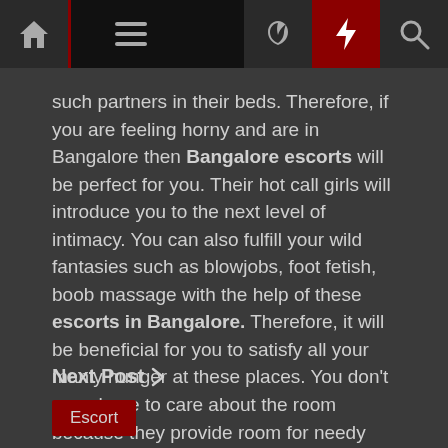Navigation bar with home, menu, moon, lightning, and search icons
such partners in their beds. Therefore, if you are feeling horny and are in Bangalore then Bangalore escorts will be perfect for you. Their hot call girls will introduce you to the next level of intimacy. You can also fulfill your wild fantasies such as blowjobs, foot fetish, boob massage with the help of these escorts in Bangalore. Therefore, it will be beneficial for you to satisfy all your manly hunger at these places. You don't even have to care about the room because they provide room for needy customers.
Next Post ❯
Escort